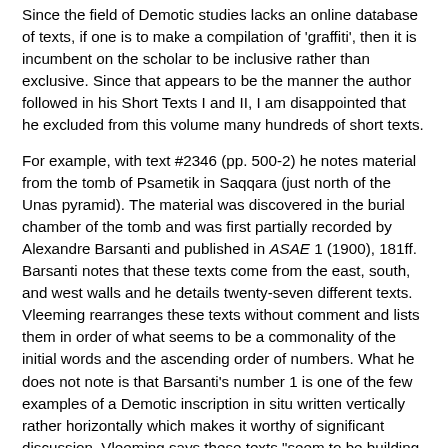Since the field of Demotic studies lacks an online database of texts, if one is to make a compilation of 'graffiti', then it is incumbent on the scholar to be inclusive rather than exclusive. Since that appears to be the manner the author followed in his Short Texts I and II, I am disappointed that he excluded from this volume many hundreds of short texts.
For example, with text #2346 (pp. 500-2) he notes material from the tomb of Psametik in Saqqara (just north of the Unas pyramid). The material was discovered in the burial chamber of the tomb and was first partially recorded by Alexandre Barsanti and published in ASAE 1 (1900), 181ff. Barsanti notes that these texts come from the east, south, and west walls and he details twenty-seven different texts. Vleeming rearranges these texts without comment and lists them in order of what seems to be a commonality of the initial words and the ascending order of numbers. What he does not note is that Barsanti's number 1 is one of the few examples of a Demotic inscription in situ written vertically rather horizontally which makes it worthy of significant discussion. Vleeming says these texts "seem to be building notes, whose exact purport is not clear." I was fortunate to have worked with the late Prof. Adel Farid several years before his tragic death on